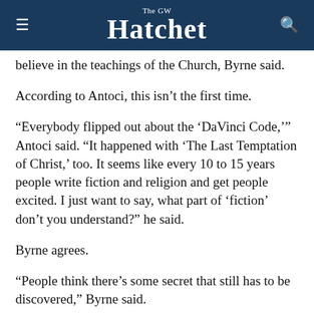The GW Hatchet
believe in the teachings of the Church, Byrne said.
According to Antoci, this isn’t the first time.
“Everybody flipped out about the ‘DaVinci Code,’” Antoci said. “It happened with ‘The Last Temptation of Christ,’ too. It seems like every 10 to 15 years people write fiction and religion and get people excited. I just want to say, what part of ‘fiction’ don’t you understand?” he said.
Byrne agrees.
“People think there’s some secret that still has to be discovered,” Byrne said.